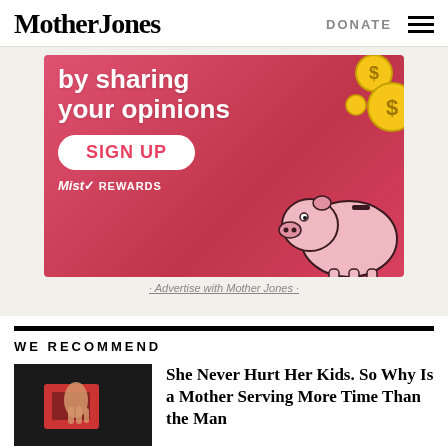Mother Jones
DONATE
[Figure (illustration): Advertisement banner with pink/red background showing text 'by sharing your opinions', a SIGN UP button, MistRewards logo, gold coins, and a cartoon piggy bank]
· Advertise with Mother Jones ·
WE RECOMMEND
[Figure (photo): Photo of person holding objects, dark background]
She Never Hurt Her Kids. So Why Is a Mother Serving More Time Than the Man